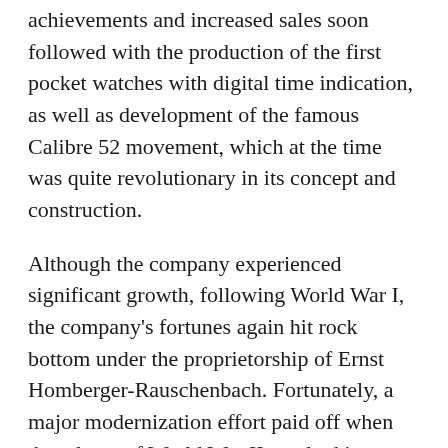achievements and increased sales soon followed with the production of the first pocket watches with digital time indication, as well as development of the famous Calibre 52 movement, which at the time was quite revolutionary in its concept and construction.
Although the company experienced significant growth, following World War I, the company's fortunes again hit rock bottom under the proprietorship of Ernst Homberger-Rauschenbach. Fortunately, a major modernization effort paid off when the advent of World War II resulted in increased military demand. It was thus during World War II that IWC created the first oversize anti-magnetic pilot's watch, followed by the famous Mark X, featuring its new in-house movement, Calibre 83. In 1944, IWC had a close call when the Allies mistakenly bombed Schaffhausen. As luck would have it, the factory narrowly escaped destruction.
In the aftermath of the war, International Watch Company